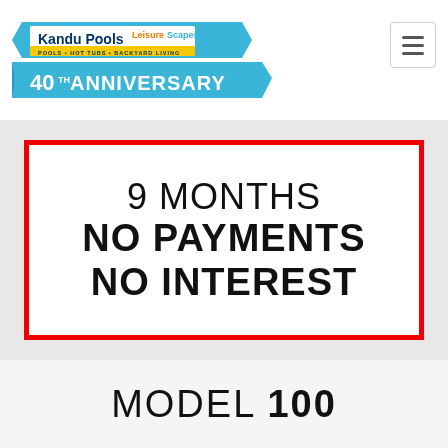[Figure (logo): Kandu Pools LeisureScapes logo with 40th Anniversary ribbon banner, pools hot tubs backyard living tagline]
9 MONTHS
NO PAYMENTS
NO INTEREST
MODEL 100